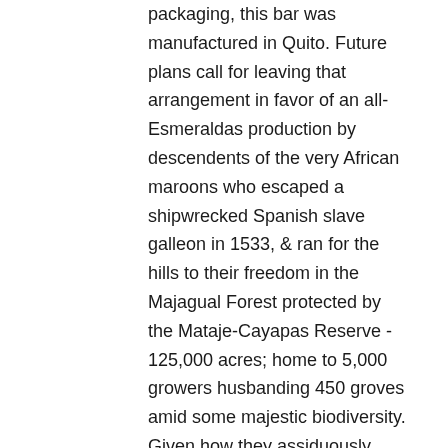packaging, this bar was manufactured in Quito. Future plans call for leaving that arrangement in favor of an all-Esmeraldas production by descendents of the very African maroons who escaped a shipwrecked Spanish slave galleon in 1533, & ran for the hills to their freedom in the Majagual Forest protected by the Mataje-Cayapas Reserve - 125,000 acres; home to 5,000 growers husbanding 450 groves amid some majestic biodiversity. Given how they assiduously ferment & dry this harvest (again, their technical skills here put other Ecuatoriana cacaotero growers to shame) only heightens the anticipation for what they can do with roasting & conching.
Hopefully, instead of the hollow sham concocted by the North American minders of Kallari, they'll